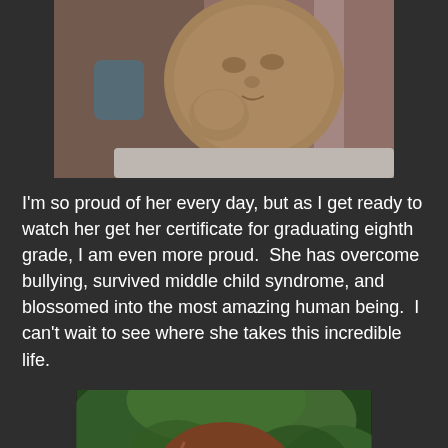[Figure (photo): Close-up photo of a newborn baby with fist near face, lying on pink and white striped fabric, wearing white clothing]
I'm so proud of her every day, but as I get ready to watch her get her certificate for graduating eighth grade, I am even more proud.  She has overcome bullying, survived middle child syndrome, and blossomed into the most amazing human being.  I can't wait to see where she takes this incredible life.
[Figure (photo): Photo of a young teenage girl with reddish-brown hair pulled back, in front of green leafy background, looking at camera]